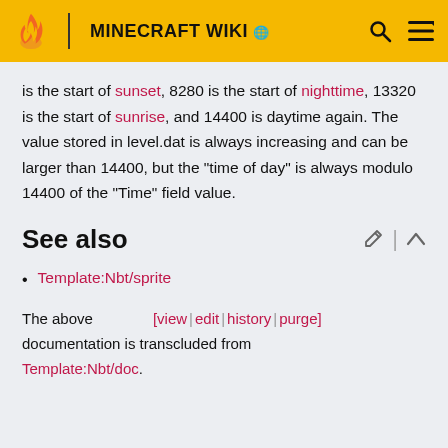MINECRAFT WIKI
is the start of sunset, 8280 is the start of nighttime, 13320 is the start of sunrise, and 14400 is daytime again. The value stored in level.dat is always increasing and can be larger than 14400, but the "time of day" is always modulo 14400 of the "Time" field value.
See also
Template:Nbt/sprite
The above [view | edit | history | purge] documentation is transcluded from Template:Nbt/doc.